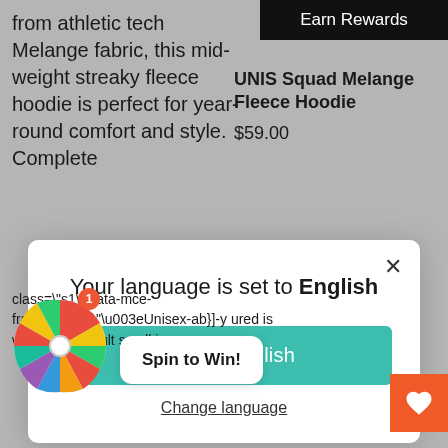from athletic tech Melange fabric, this mid-weight streaky fleece hoodie is perfect for year-round comfort and style. Complete
Earn Rewards
UNIS Squad Melange Fleece Hoodie
$59.00
Your language is set to English
Shop in English
Change language
class="s1" data-mce-fragment="1"\u003eUnisex-ab}]-y ured is wearing an adult small in
Spin to Win!